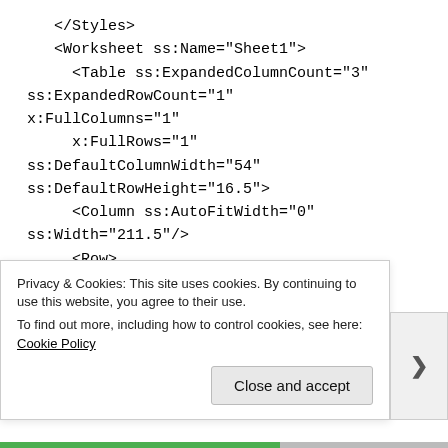</Styles>
    <Worksheet ss:Name="Sheet1">
      <Table ss:ExpandedColumnCount="3"
 ss:ExpandedRowCount="1"
 x:FullColumns="1"
      x:FullRows="1"
 ss:DefaultColumnWidth="54"
 ss:DefaultRowHeight="16.5">
      <Column ss:AutoFitWidth="0"
 ss:Width="211.5"/>
      <Row>
        <Cell ss:StyleID="s62"><Data
 ss:Type="String">First Name</Data>
Privacy & Cookies: This site uses cookies. By continuing to use this website, you agree to their use.
To find out more, including how to control cookies, see here: Cookie Policy
Close and accept